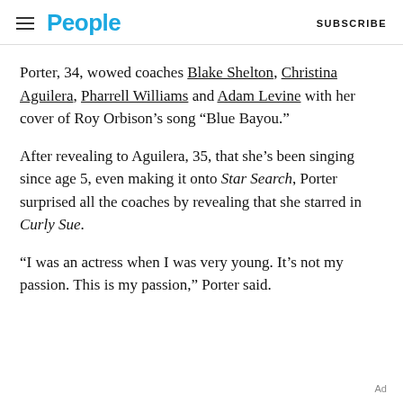People | SUBSCRIBE
Porter, 34, wowed coaches Blake Shelton, Christina Aguilera, Pharrell Williams and Adam Levine with her cover of Roy Orbison’s song “Blue Bayou.”
After revealing to Aguilera, 35, that she’s been singing since age 5, even making it onto Star Search, Porter surprised all the coaches by revealing that she starred in Curly Sue.
“I was an actress when I was very young. It’s not my passion. This is my passion,” Porter said.
Ad